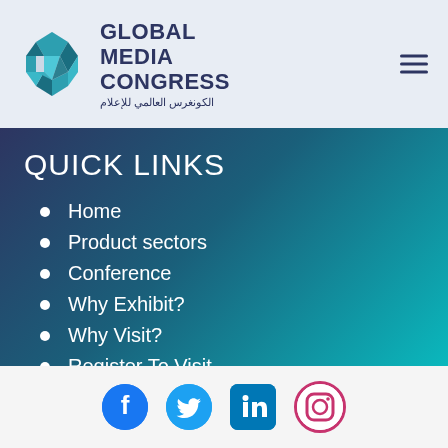GLOBAL MEDIA CONGRESS
QUICK LINKS
Home
Product sectors
Conference
Why Exhibit?
Why Visit?
Register To Visit
Book Your Stand
Social media icons: Facebook, Twitter, LinkedIn, Instagram